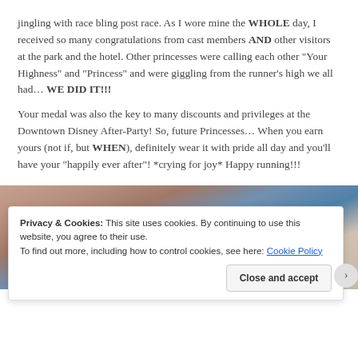jingling with race bling post race.  As I wore mine the WHOLE day, I received so many congratulations from cast members AND other visitors at the park and the hotel.  Other princesses were calling each other "Your Highness" and "Princess" and were giggling from the runner's high we all had…  WE DID IT!!!
Your medal was also the key to many discounts and privileges at the Downtown Disney After-Party!  So, future Princesses…  When you earn yours (not if, but WHEN), definitely wear it with pride all day and you'll have your "happily ever after"!  *crying for joy*  Happy running!!!
[Figure (photo): Close-up photo of a foot/ankle wearing colorful socks, partially obscured by a cookie consent banner overlay]
Privacy & Cookies: This site uses cookies. By continuing to use this website, you agree to their use.
To find out more, including how to control cookies, see here: Cookie Policy
Close and accept